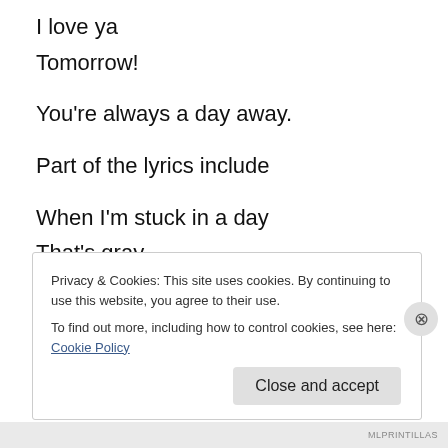I love ya
Tomorrow!
You're always a day away.
Part of the lyrics include
When I'm stuck in a day
That's gray,
And lonely,
I just stick out my chin
And Grin,
Privacy & Cookies: This site uses cookies. By continuing to use this website, you agree to their use.
To find out more, including how to control cookies, see here: Cookie Policy